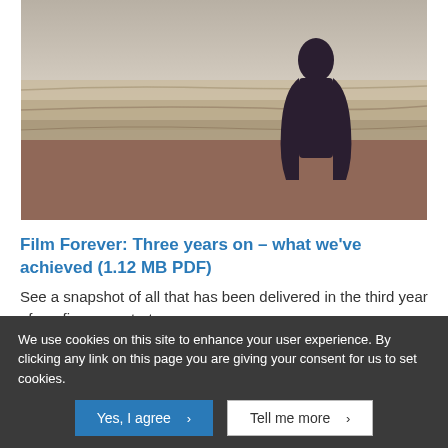[Figure (photo): A person in a dark robe/silhouette standing against layered sandy/rocky terrain, sepia-toned landscape]
Film Forever: Three years on – what we've achieved (1.12 MB PDF)
See a snapshot of all that has been delivered in the third year of our five year strategy.
[Figure (photo): A person with dreadlocks looking upward against a blue sky with clouds, warm tones]
We use cookies on this site to enhance your user experience. By clicking any link on this page you are giving your consent for us to set cookies.